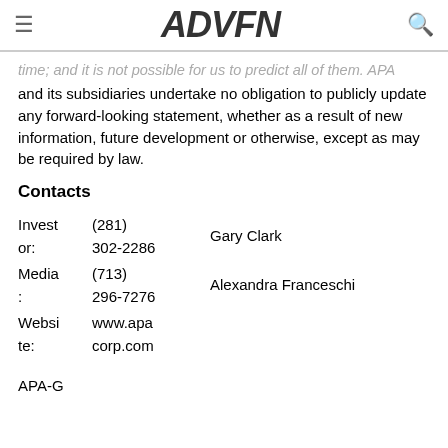ADVFN
time; and it is not possible for us to predict all of them. APA and its subsidiaries undertake no obligation to publicly update any forward-looking statement, whether as a result of new information, future development or otherwise, except as may be required by law.
Contacts
|  |  |  |
| --- | --- | --- |
| Investor: | (281) 302-2286 | Gary Clark |
| Media: | (713) 296-7276 | Alexandra Franceschi |
| Website: | www.apacorp.com |  |
APA-G